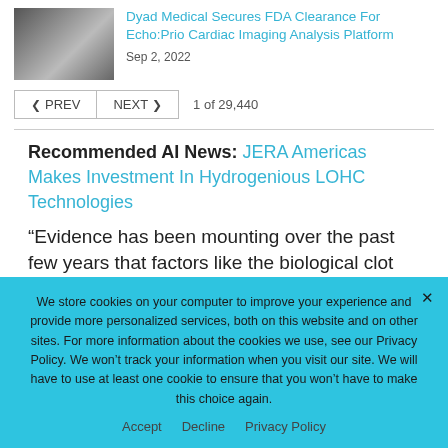[Figure (photo): Thumbnail photo of a laptop keyboard on a wooden surface]
Dyad Medical Secures FDA Clearance For Echo:Prio Cardiac Imaging Analysis Platform
Sep 2, 2022
< PREV   NEXT >   1 of 29,440
Recommended AI News: JERA Americas Makes Investment In Hydrogenious LOHC Technologies
“Evidence has been mounting over the past few years that factors like the biological clot
We store cookies on your computer to improve your experience and provide more personalized services, both on this website and on other sites. For more information about the cookies we use, see our Privacy Policy. We won’t track your information when you visit our site. We will have to use at least one cookie to ensure that you won’t have to make this choice again.
Accept   Decline   Privacy Policy